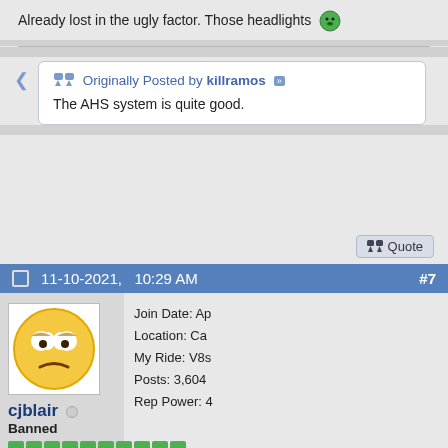Already lost in the ugly factor. Those headlights 😵
Originally Posted by killramos
The AHS system is quite good.
Quote
11-10-2021,   10:29 AM   #7
[Figure (illustration): Tired/unamused yellow emoji face avatar for user cjblair]
Join Date: Ap
Location: Ca
My Ride: V8s
Posts: 3,604
Rep Power: 4
cjblair ○
Banned
From Jason Cammisa's instagram: